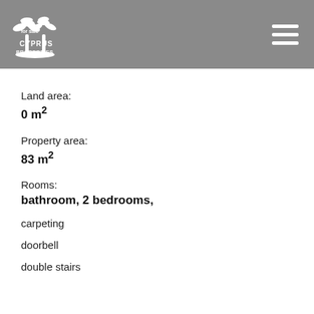for sale Cyprus Properties
Land area:
0 m²
Property area:
83 m²
Rooms:
bathroom, 2 bedrooms,
carpeting
doorbell
double stairs